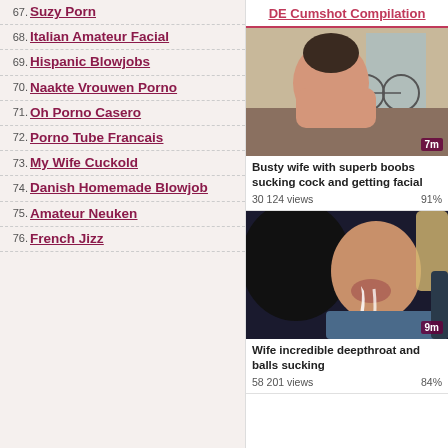67. Suzy Porn
68. Italian Amateur Facial
69. Hispanic Blowjobs
70. Naakte Vrouwen Porno
71. Oh Porno Casero
72. Porno Tube Francais
73. My Wife Cuckold
74. Danish Homemade Blowjob
75. Amateur Neuken
76. French Jizz
DE Cumshot Compilation
[Figure (photo): Woman performing oral sex, video thumbnail, 7m duration]
Busty wife with superb boobs sucking cock and getting facial
30 124 views
91%
[Figure (photo): Close-up of woman with liquid on face, video thumbnail, 9m duration]
Wife incredible deepthroat and balls sucking
58 201 views
84%